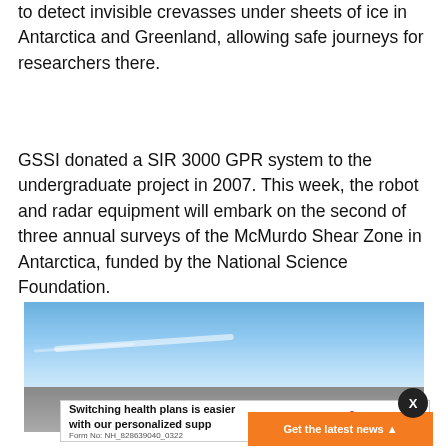to detect invisible crevasses under sheets of ice in Antarctica and Greenland, allowing safe journeys for researchers there.
GSSI donated a SIR 3000 GPR system to the undergraduate project in 2007. This week, the robot and radar equipment will embark on the second of three annual surveys of the McMurdo Shear Zone in Antarctica, funded by the National Science Foundation.
[Figure (photo): Photograph showing a blue sky with faint wispy cloud streaks above a grey ground/ice surface, taken in an Antarctic or polar setting.]